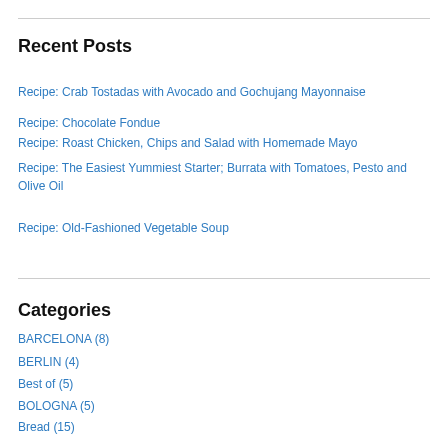Recent Posts
Recipe: Crab Tostadas with Avocado and Gochujang Mayonnaise
Recipe: Chocolate Fondue
Recipe: Roast Chicken, Chips and Salad with Homemade Mayo
Recipe: The Easiest Yummiest Starter; Burrata with Tomatoes, Pesto and Olive Oil
Recipe: Old-Fashioned Vegetable Soup
Categories
BARCELONA (8)
BERLIN (4)
Best of (5)
BOLOGNA (5)
Bread (15)
Breakfast (30)
Cakes/Cookies (167)